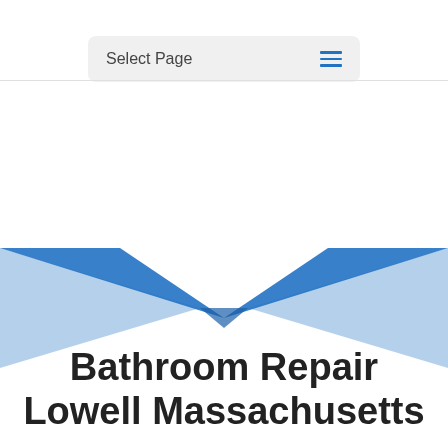Select Page
[Figure (illustration): Decorative geometric X-shaped graphic with blue and light blue overlapping triangular shapes forming an hourglass/bow-tie pattern]
Bathroom Repair Lowell Massachusetts